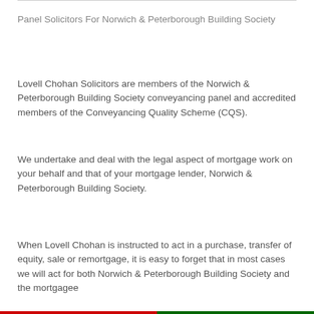Panel Solicitors For Norwich & Peterborough Building Society
Lovell Chohan Solicitors are members of the Norwich & Peterborough Building Society conveyancing panel and accredited members of the Conveyancing Quality Scheme (CQS).
We undertake and deal with the legal aspect of mortgage work on your behalf and that of your mortgage lender, Norwich & Peterborough Building Society.
When Lovell Chohan is instructed to act in a purchase, transfer of equity, sale or remortgage, it is easy to forget that in most cases we will act for both Norwich & Peterborough Building Society and the mortgagee…